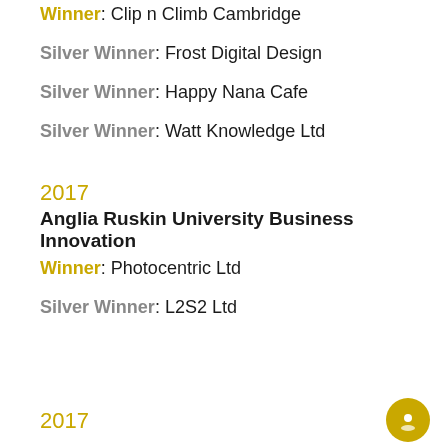Winner: Clip n Climb Cambridge
Silver Winner: Frost Digital Design
Silver Winner: Happy Nana Cafe
Silver Winner: Watt Knowledge Ltd
2017
Anglia Ruskin University Business Innovation
Winner: Photocentric Ltd
Silver Winner: L2S2 Ltd
2017